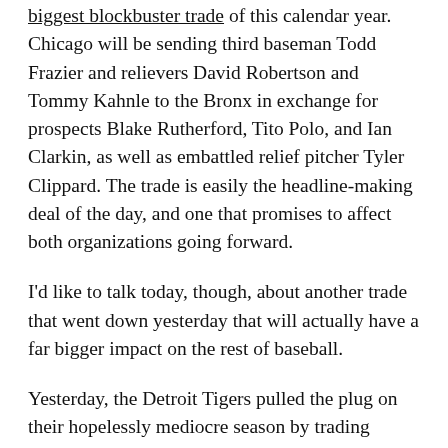biggest blockbuster trade of this calendar year. Chicago will be sending third baseman Todd Frazier and relievers David Robertson and Tommy Kahnle to the Bronx in exchange for prospects Blake Rutherford, Tito Polo, and Ian Clarkin, as well as embattled relief pitcher Tyler Clippard. The trade is easily the headline-making deal of the day, and one that promises to affect both organizations going forward.
I'd like to talk today, though, about another trade that went down yesterday that will actually have a far bigger impact on the rest of baseball.
Yesterday, the Detroit Tigers pulled the plug on their hopelessly mediocre season by trading outfielder J.D. Martinez to the Arizona Diamondbacks in exchange for minor-league infielders Dawel Lugo, Sergio Alcantara, and Jose King. Martinez is a free agent after the season and he indicated that he was open to being traded...